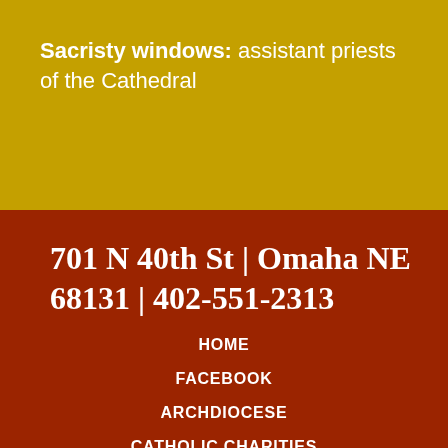Sacristy windows: assistant priests of the Cathedral
701 N 40th St | Omaha NE 68131 | 402-551-2313
HOME
FACEBOOK
ARCHDIOCESE
CATHOLIC CHARITIES